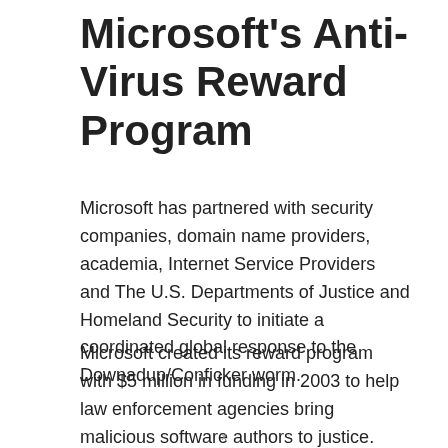Microsoft's Anti-Virus Reward Program
Microsoft has partnered with security companies, domain name providers, academia, Internet Service Providers and The U.S. Departments of Justice and Homeland Security to initiate a coordinated global response to the Downadup/Conficker worm.
Microsoft created its reward program with $5 million in funding in 2003 to help law enforcement agencies bring malicious software authors to justice. Microsoft